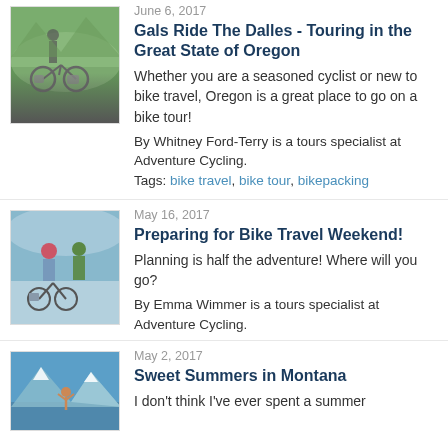[Figure (photo): Person with loaded touring bicycle on mountain trail]
June 6, 2017
Gals Ride The Dalles - Touring in the Great State of Oregon
Whether you are a seasoned cyclist or new to bike travel, Oregon is a great place to go on a bike tour!
By Whitney Ford-Terry is a tours specialist at Adventure Cycling.
Tags: bike travel, bike tour, bikepacking
[Figure (photo): Two people with bicycles in a snowy or overcast outdoor setting]
May 16, 2017
Preparing for Bike Travel Weekend!
Planning is half the adventure! Where will you go?
By Emma Wimmer is a tours specialist at Adventure Cycling.
[Figure (photo): Person standing with arms raised in front of mountain scenery]
May 2, 2017
Sweet Summers in Montana
I don't think I've ever spent a summer...